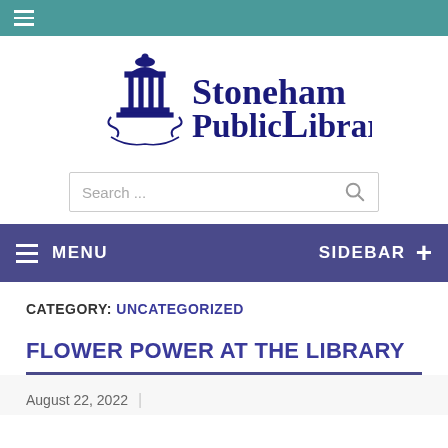≡ (hamburger menu)
[Figure (logo): Stoneham Public Library logo with gazebo/cupola illustration and text 'Stoneham Public Library' in dark blue serif font]
Search ...
≡ MENU   SIDEBAR +
CATEGORY: UNCATEGORIZED
FLOWER POWER AT THE LIBRARY
August 22, 2022 |